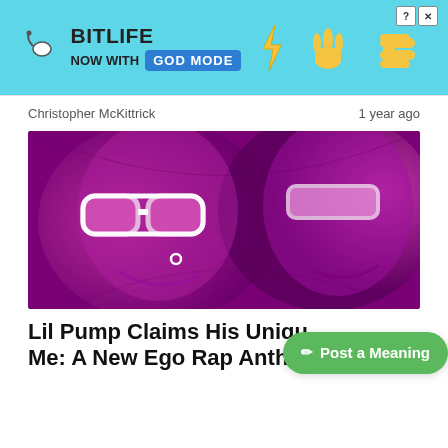[Figure (illustration): BitLife 'Now With God Mode' advertisement banner with light blue background, logo, and cartoon hand illustrations]
Christopher McKittrick
1 year ago
[Figure (photo): Stylized purple/magenta-toned artistic photo of two people with sunglasses, heavily color-graded with graphic novel style]
Lil Pump Claims His Unique Me: A New Ego Rap Anthe
Post a Meaning